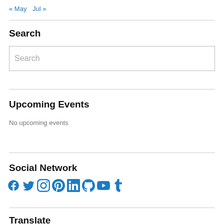« May  Jul »
Search
Search (input box placeholder)
Upcoming Events
No upcoming events
Social Network
[Figure (infographic): Row of social network icons: Facebook, Twitter, Instagram, Pinterest, LinkedIn, GitHub, YouTube, Tumblr]
Translate